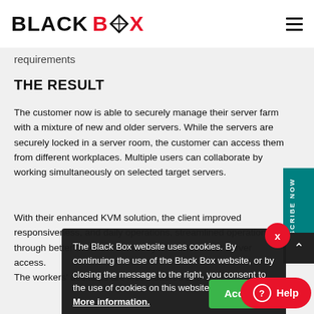BLACK BOX
requirements
THE RESULT
The customer now is able to securely manage their server farm with a mixture of new and older servers. While the servers are securely locked in a server room, the customer can access them from different workplaces. Multiple users can collaborate by working simultaneously on selected target servers.
With their enhanced KVM solution, the client improved responsiveness, and daily operations, streamlined operations through better overview of their system with faster server access. The workers' desktops are less cluttered and a
The Black Box website uses cookies. By continuing the use of the Black Box website, or by closing the message to the right, you consent to the use of cookies on this website
More information.
Accept